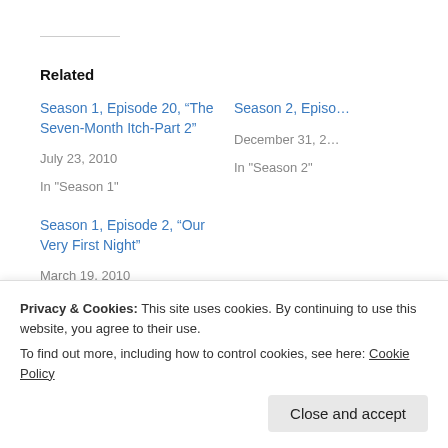Related
Season 1, Episode 20, “The Seven-Month Itch-Part 2”
July 23, 2010
In "Season 1"
Season 2, Episo…
December 31, 2…
In "Season 2"
Season 1, Episode 2, “Our Very First Night”
March 19, 2010
In "Season 1"
This entry was posted in Season 1. Bookmark the permalink.
Privacy & Cookies: This site uses cookies. By continuing to use this website, you agree to their use.
To find out more, including how to control cookies, see here: Cookie Policy
Close and accept